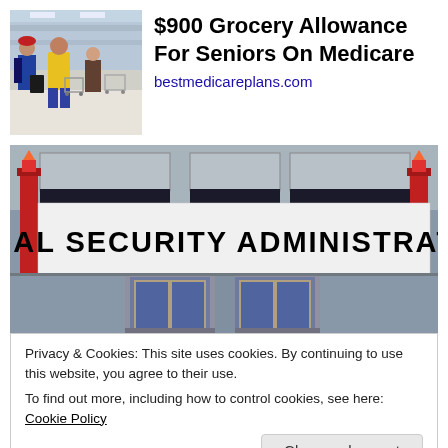[Figure (photo): People shopping in a grocery store, viewed from behind, with shopping carts. Ad for $900 Grocery Allowance For Seniors On Medicare from bestmedicareplans.com]
$900 Grocery Allowance For Seniors On Medicare
bestmedicareplans.com
[Figure (photo): Exterior of a Social Security Administration building with large banner sign reading SOCIAL SECURITY ADMINISTRATION, with red pillars and glass entrance doors]
Privacy & Cookies: This site uses cookies. By continuing to use this website, you agree to their use.
To find out more, including how to control cookies, see here: Cookie Policy
April 29, 2013   2 Replies